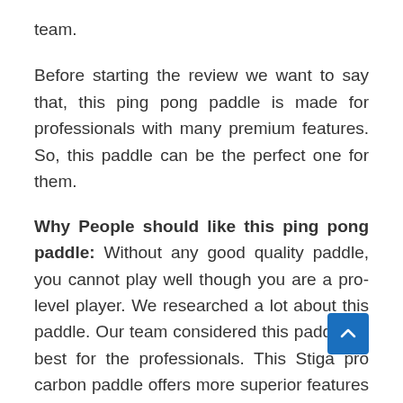team.
Before starting the review we want to say that, this ping pong paddle is made for professionals with many premium features. So, this paddle can be the perfect one for them.
Why People should like this ping pong paddle: Without any good quality paddle, you cannot play well though you are a pro-level player. We researched a lot about this paddle. Our team considered this paddle as best for the professionals. This Stiga pro carbon paddle offers more superior features with high performance. So, we can suggest this paddle. People would love this paddle because of its premium